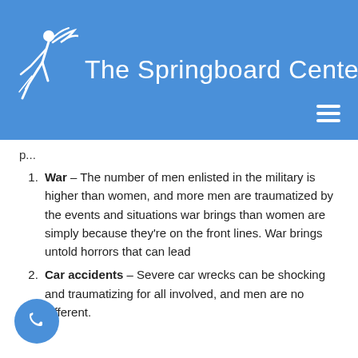[Figure (logo): The Springboard Center logo with white figure and text on blue background]
p...
War – The number of men enlisted in the military is higher than women, and more men are traumatized by the events and situations war brings than women are simply because they're on the front lines. War brings untold horrors that can lead
Car accidents – Severe car wrecks can be shocking and traumatizing for all involved, and men are no different.